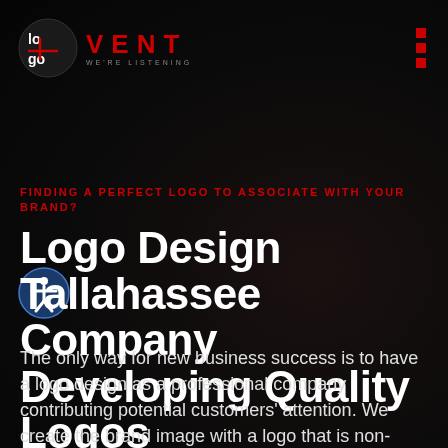[Figure (logo): Logo Vent We're Listening — dark circular logo with stylized letters and red VENT text]
FINDING A PERFECT LOGO TO ASSOCIATE WITH YOUR BRAND?
Logo Design Tallahassee Company Developing Quality Logos
The only way for new business success is to have a logo design as a professional company contributing potential customers' attention. We create the brand image with a logo that is non-ignorant.